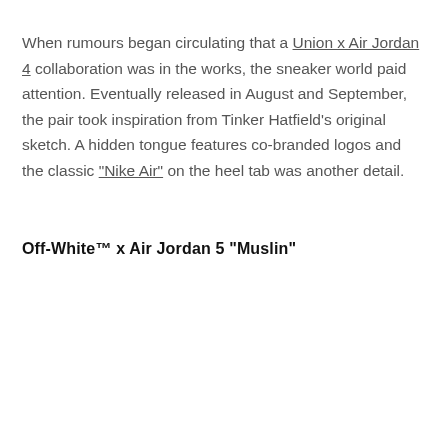When rumours began circulating that a Union x Air Jordan 4 collaboration was in the works, the sneaker world paid attention. Eventually released in August and September, the pair took inspiration from Tinker Hatfield's original sketch. A hidden tongue features co-branded logos and the classic “Nike Air” on the heel tab was another detail.
Off-White™ x Air Jordan 5 “Muslin”